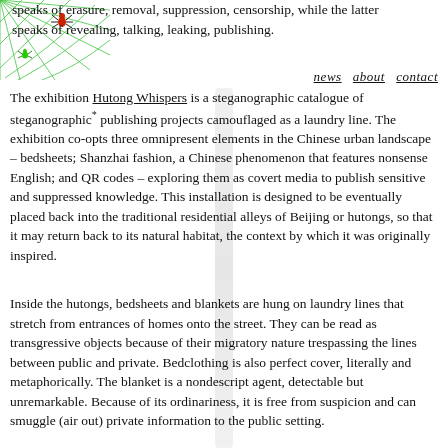speaks of erasure, removal, suppression, censorship, while the latter speaks of revealing, talking, leaking, publishing.
news   about   contact
The exhibition Hutong Whispers is a steganographic catalogue of steganographic* publishing projects camouflaged as a laundry line. The exhibition co-opts three omnipresent elements in the Chinese urban landscape – bedsheets; Shanzhai fashion, a Chinese phenomenon that features nonsense English; and QR codes – exploring them as covert media to publish sensitive and suppressed knowledge. This installation is designed to be eventually placed back into the traditional residential alleys of Beijing or hutongs, so that it may return back to its natural habitat, the context by which it was originally inspired.
Inside the hutongs, bedsheets and blankets are hung on laundry lines that stretch from entrances of homes onto the street. They can be read as transgressive objects because of their migratory nature trespassing the lines between public and private. Bedclothing is also perfect cover, literally and metaphorically. The blanket is a nondescript agent, detectable but unremarkable. Because of its ordinariness, it is free from suspicion and can smuggle (air out) private information to the public setting.